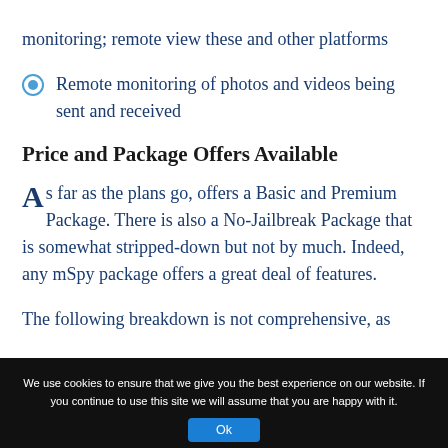monitoring; remote view these and other platforms
Remote monitoring of photos and videos being sent and received
Price and Package Offers Available
As far as the plans go, offers a Basic and Premium Package. There is also a No-Jailbreak Package that is somewhat stripped-down but not by much. Indeed, any mSpy package offers a great deal of features.
The following breakdown is not comprehensive, as
We use cookies to ensure that we give you the best experience on our website. If you continue to use this site we will assume that you are happy with it.